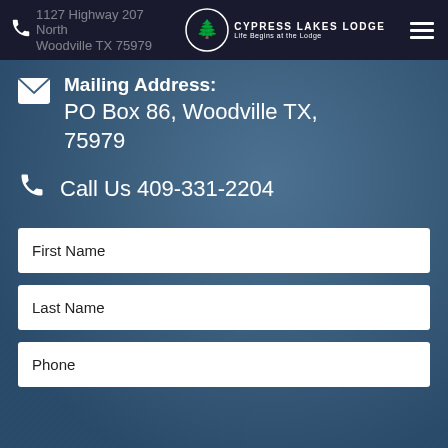1127 Highway 207 North Woodville TX 75979 | CYPRESS LAKES LODGE - Life Begins at the Lodge
Mailing Address:
PO Box 86, Woodville TX, 75979
Call Us 409-331-2204
First Name
Last Name
Phone